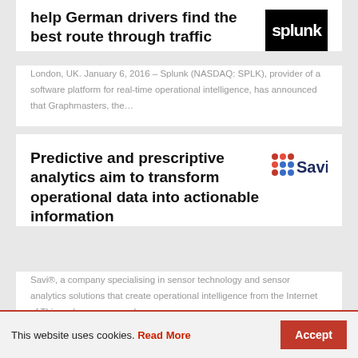help German drivers find the best route through traffic
London, UK. January 6, 2016 – Splunk (NASDAQ: SPLK), provider of a software platform for real-time operational intelligence, has announced that Graphmasters, the…
Predictive and prescriptive analytics aim to transform operational data into actionable information
Savi®, a company specialising in sensor technology and sensor analytics solutions that create operational intelligence from the Internet of Things, has announced…
This website uses cookies. Read More  Accept